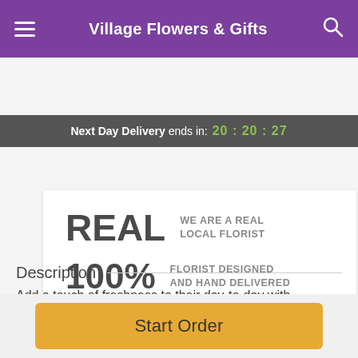Village Flowers & Gifts
Next Day Delivery ends in: 20:20:27
REAL  WE ARE A REAL LOCAL FLORIST
100%  FLORIST DESIGNED AND HAND DELIVERED
Description
Add a touch of freshness to their day-to-day with this basket of nature! Our low-maintenance and easy to care fo...
Start Order